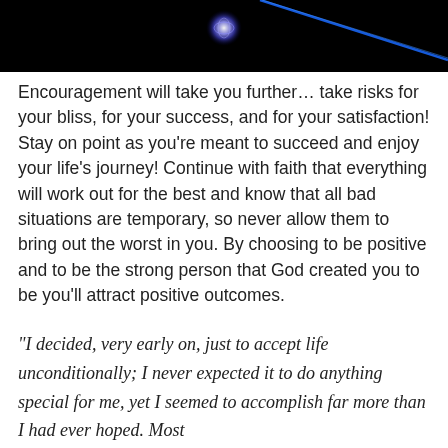[Figure (photo): Dark background image with a glowing blue orb/sphere and a blue diagonal light streak, space or cosmic theme]
Encouragement will take you further… take risks for your bliss, for your success, and for your satisfaction! Stay on point as you're meant to succeed and enjoy your life's journey! Continue with faith that everything will work out for the best and know that all bad situations are temporary, so never allow them to bring out the worst in you. By choosing to be positive and to be the strong person that God created you to be you'll attract positive outcomes.
“I decided, very early on, just to accept life unconditionally; I never expected it to do anything special for me, yet I seemed to accomplish far more than I had ever hoped. Most